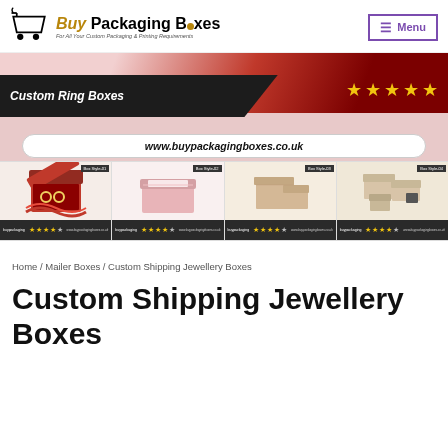[Figure (logo): Buy Packaging Boxes logo with shopping cart icon and text 'Packaging Boxes - For All Your Custom Packaging & Printing Requirements']
[Figure (screenshot): Navigation menu button with hamburger icon labeled 'Menu' with purple border]
[Figure (photo): Banner with red ribbon background, dark strip reading 'Custom Ring Boxes' with 5 gold stars and URL www.buypackagingboxes.co.uk]
[Figure (photo): Four product images of ring/jewellery box styles (Box Style-01 through Box Style-04) with star ratings]
Home / Mailer Boxes / Custom Shipping Jewellery Boxes
Custom Shipping Jewellery Boxes